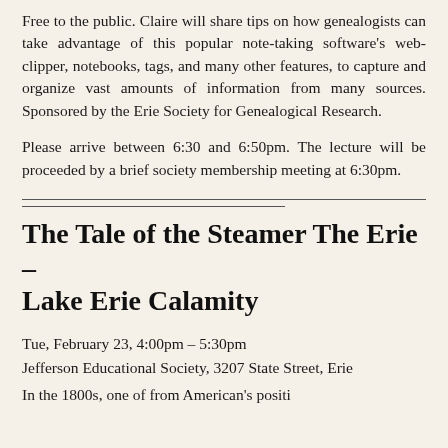Free to the public. Claire will share tips on how genealogists can take advantage of this popular note-taking software's web-clipper, notebooks, tags, and many other features, to capture and organize vast amounts of information from many sources. Sponsored by the Erie Society for Genealogical Research.
Please arrive between 6:30 and 6:50pm. The lecture will be proceeded by a brief society membership meeting at 6:30pm.
The Tale of the Steamer The Erie – Lake Erie Calamity
Tue, February 23, 4:00pm – 5:30pm
Jefferson Educational Society, 3207 State Street, Erie
In the 1800s, one of from American's position...